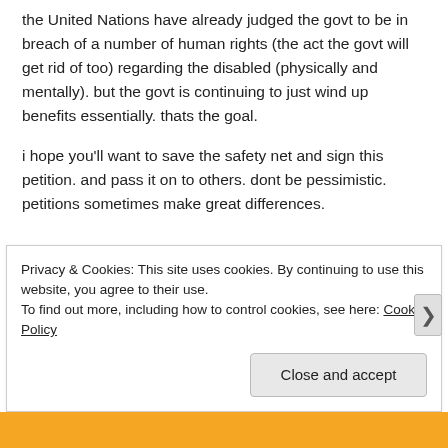the United Nations have already judged the govt to be in breach of a number of human rights (the act the govt will get rid of too) regarding the disabled (physically and mentally). but the govt is continuing to just wind up benefits essentially. thats the goal.
i hope you'll want to save the safety net and sign this petition. and pass it on to others. dont be pessimistic. petitions sometimes make great differences.
Privacy & Cookies: This site uses cookies. By continuing to use this website, you agree to their use.
To find out more, including how to control cookies, see here: Cookie Policy